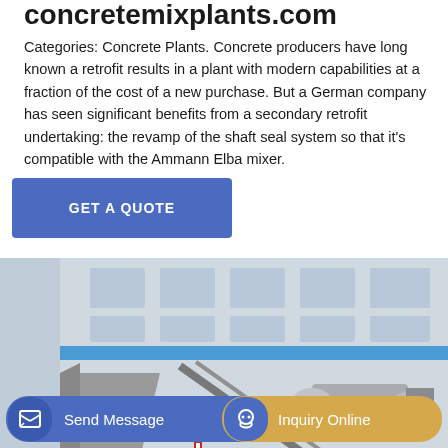concretemixplants.com
Categories: Concrete Plants. Concrete producers have long known a retrofit results in a plant with modern capabilities at a fraction of the cost of a new purchase. But a German company has seen significant benefits from a secondary retrofit undertaking: the revamp of the shaft seal system so that it's compatible with the Ammann Elba mixer.
[Figure (other): Blue button labeled GET A QUOTE]
[Figure (photo): Photo of a large concrete batching / mixing plant on a truck chassis, with industrial building in background. The plant features a large mixer, conveyor belt, aggregate bins, and steel framework structure.]
[Figure (other): Bottom bar with two buttons: Send Message (blue, with document icon) and Inquiry Online (gold/tan, with headset icon)]